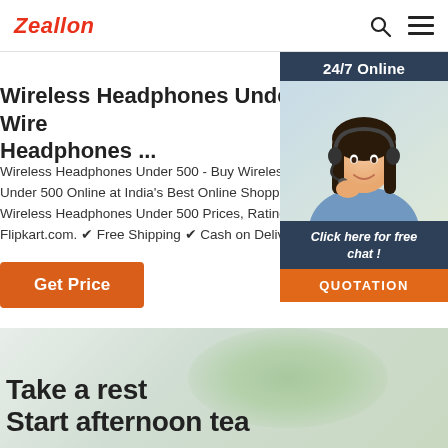Zeallon
Wireless Headphones Under 500 - Buy Wireless Headphones ...
Wireless Headphones Under 500 - Buy Wireless H... Under 500 Online at India's Best Online Shopping... Wireless Headphones Under 500 Prices, Ratings &... Flipkart.com. ✔ Free Shipping ✔ Cash on Delivery...
Get Price
[Figure (photo): Chat widget with woman wearing headset, 24/7 Online label, Click here for free chat!, QUOTATION button]
Take a rest
Start afternoon tea